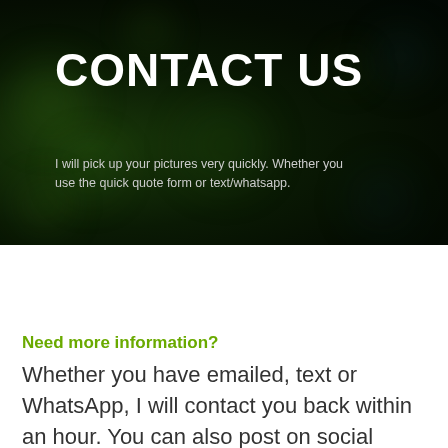[Figure (photo): Dark green bokeh background hero section with blurred circular light orbs]
CONTACT US
I will pick up your pictures very quickly. Whether you use the quick quote form or text/whatsapp.
Need more information?
Whether you have emailed, text or WhatsApp, I will contact you back within an hour. You can also post on social media.